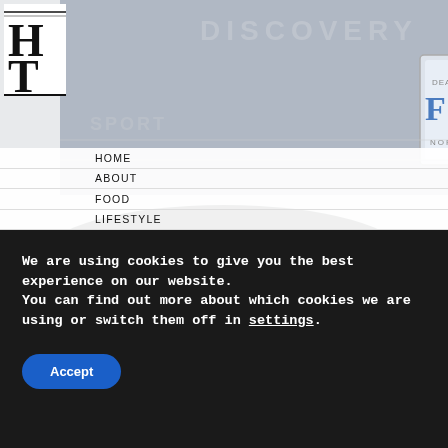[Figure (photo): Website screenshot showing a lifestyle blog with a logo (HT monogram), navigation menu, car photos (Land Rover Discovery exterior and interior), and a cookie consent banner]
HT logo — blog header
HOME
ABOUT
FOOD
LIFESTYLE
OUR RANCH
STYLE
TRAVEL
SHOP
HOLIDAYS
[Figure (photo): Close-up of Land Rover Discovery Sport interior showing open trunk/tailgate with beige and dark leather trim]
We are using cookies to give you the best experience on our website.
You can find out more about which cookies we are using or switch them off in settings.
Accept